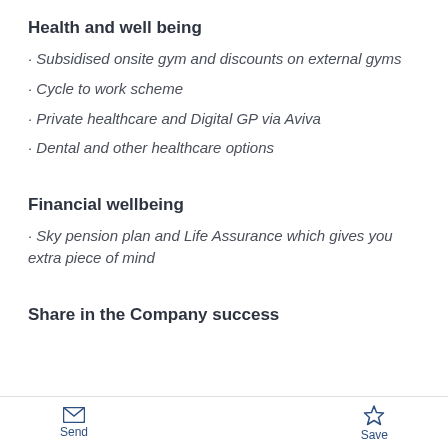Health and well being
· Subsidised onsite gym and discounts on external gyms
· Cycle to work scheme
· Private healthcare and Digital GP via Aviva
· Dental and other healthcare options
Financial wellbeing
· Sky pension plan and Life Assurance which gives you extra piece of mind
Share in the Company success
Send   Save